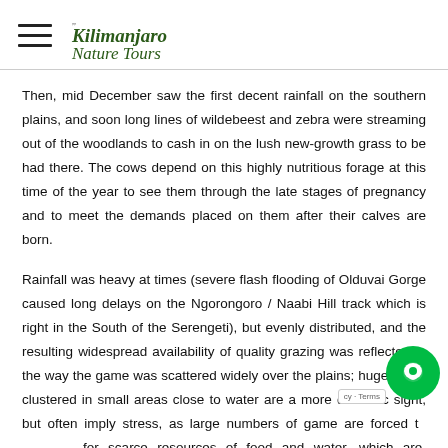Kilimanjaro Nature Tours
Then, mid December saw the first decent rainfall on the southern plains, and soon long lines of wildebeest and zebra were streaming out of the woodlands to cash in on the lush new-growth grass to be had there. The cows depend on this highly nutritious forage at this time of the year to see them through the late stages of pregnancy and to meet the demands placed on them after their calves are born.
Rainfall was heavy at times (severe flash flooding of Olduvai Gorge caused long delays on the Ngorongoro / Naabi Hill track which is right in the South of the Serengeti), but evenly distributed, and the resulting widespread availability of quality grazing was reflected in the way the game was scattered widely over the plains; huge herds clustered in small areas close to water are a more dramatic sight, but often imply stress, as large numbers of game are forced to compete for scarce resources of food and water, which are, inevitably, rapidly depleted.